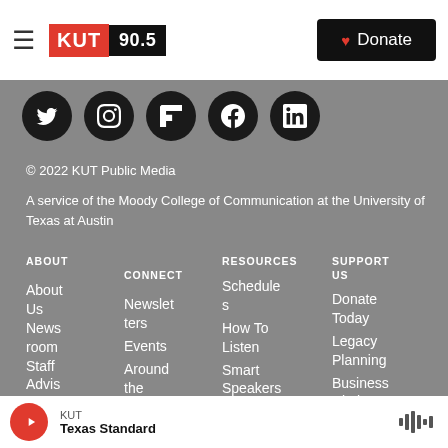KUT 90.5 — Donate
[Figure (logo): KUT 90.5 radio station logo with red KUT block and black 90.5 block]
[Figure (infographic): Row of 5 social media icons: Twitter, Instagram, Flipboard, Facebook, LinkedIn — white icons on black circles]
© 2022 KUT Public Media
A service of the Moody College of Communication at the University of Texas at Austin
ABOUT
About Us
Newsroom
Staff Advisory
CONNECT
Newsletters
Events
Around the
RESOURCES
Schedules
How To Listen
Smart Speakers
Privacy & Terms
SUPPORT US
Donate Today
Legacy Planning
Business Circle
KUT — Texas Standard